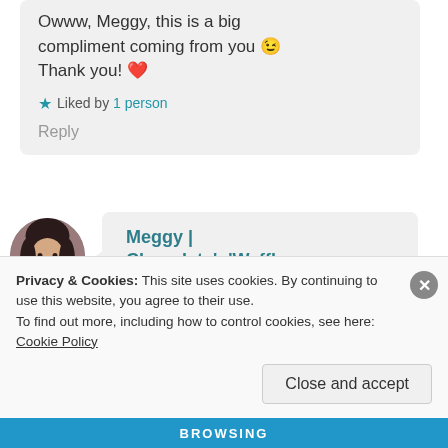Oww, Meggy, this is a big compliment coming from you 😉 Thank you! ❤️
★ Liked by 1 person
Reply
[Figure (photo): Circular avatar photo of a person with dark hair]
Meggy | Chocolate'n'Waffles
July 3, 2018 at 11:32 am
❤️
Privacy & Cookies: This site uses cookies. By continuing to use this website, you agree to their use.
To find out more, including how to control cookies, see here: Cookie Policy
Close and accept